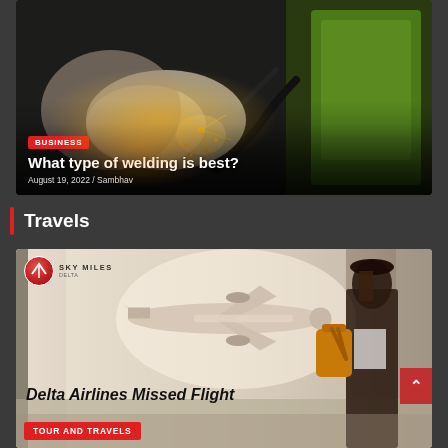[Figure (photo): Welding scene with sparks flying, worker wearing gloves, green welding machine on the right]
BUSINESS
What type of welding is best?
August 19, 2022 / Sambhav
Travels
[Figure (photo): Delta Airlines Missed Flight article image — woman with backpack looking out airport window at plane, Sky Miles Delta logo in top-left]
TOUR AND TRAVELS